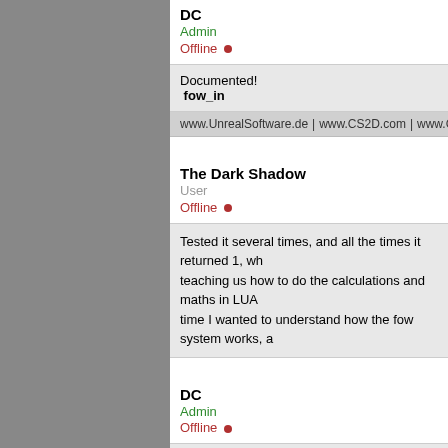DC
Admin
Offline
Documented!
fow_in
www.UnrealSoftware.de | www.CS2D.com | www.CarnageContest...
The Dark Shadow
User
Offline
Tested it several times, and all the times it returned 1, wh... teaching us how to do the calculations and maths in LUA... time I wanted to understand how the fow system works, a...
DC
Admin
Offline
@ The Dark Shadow: What does the script look like whi... Especially the order and the fact that the coordinates are...

I'm not sure if that command works to be honest. I think s...

The fog of war calculation works with simple ray casts wh... pretty inefficient way of doing it. There are much better w...